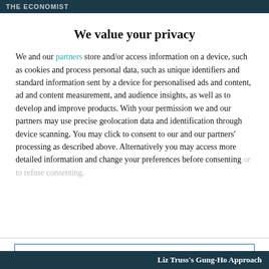THE ECONOMIST
We value your privacy
We and our partners store and/or access information on a device, such as cookies and process personal data, such as unique identifiers and standard information sent by a device for personalised ads and content, ad and content measurement, and audience insights, as well as to develop and improve products. With your permission we and our partners may use precise geolocation data and identification through device scanning. You may click to consent to our and our partners' processing as described above. Alternatively you may access more detailed information and change your preferences before consenting or to refuse consenting.
AGREE
MORE OPTIONS
Liz Truss's Gung-Ho Approach